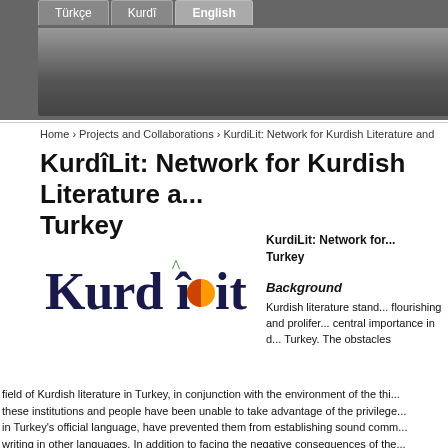Navigation bar with Türkçe, Kurdî, English tabs and gray header banner
Home › Projects and Collaborations › KurdiLit: Network for Kurdish Literature and...
KurdîLit: Network for Kurdish Literature a... Turkey
[Figure (logo): KurdiLit logo with stylized text: Kurd with hat-i, orange circle, Lit in dark navy font]
KurdiLit: Network for... Turkey
Background
Kurdish literature stand... flourishing and prolifer... central importance in d... Turkey. The obstacles field of Kurdish literature in Turkey, in conjunction with the environment of the thi... these institutions and people have been unable to take advantage of the privilege... in Turkey's official language, have prevented them from establishing sound comm... writing in other languages. In addition to facing the negative consequences of the...